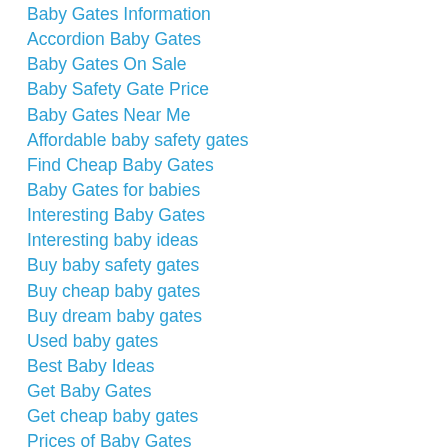Baby Gates Information
Accordion Baby Gates
Baby Gates On Sale
Baby Safety Gate Price
Baby Gates Near Me
Affordable baby safety gates
Find Cheap Baby Gates
Baby Gates for babies
Interesting Baby Gates
Interesting baby ideas
Buy baby safety gates
Buy cheap baby gates
Buy dream baby gates
Used baby gates
Best Baby Ideas
Get Baby Gates
Get cheap baby gates
Prices of Baby Gates
Baby gate selling store